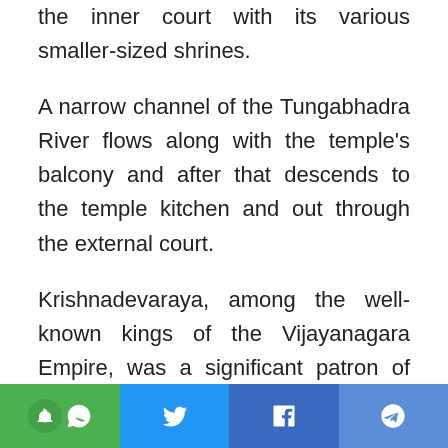the inner court with its various smaller-sized shrines.
A narrow channel of the Tungabhadra River flows along with the temple's balcony and after that descends to the temple kitchen and out through the external court.
Krishnadevaraya, among the well-known kings of the Vijayanagara Empire, was a significant patron of this temple. The most elaborate of all structures in the temple, the
[Figure (other): Social media share bar with WhatsApp (green), Twitter (blue), Facebook (blue), and Telegram (blue) buttons]